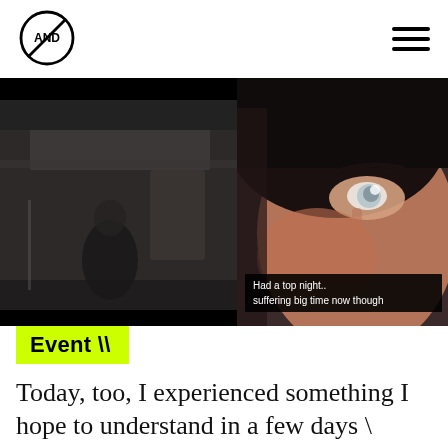AND (logo) | navigation menu
[Figure (screenshot): Two side-by-side video stills on a black background. Left: a dark, moody scene showing a figure in a dim interior. Right: a close-up blurred face of a person with dark hair with a subtitle overlay reading 'Had a top night.. suffering big time now though'.]
Event \
Today, too, I experienced something I hope to understand in a few days \ James